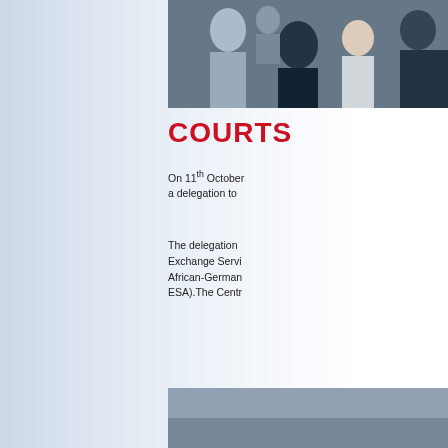[Figure (photo): Photo of a delegation group of people, partially visible, cropped on the right side of the page.]
COURTS
On 11th October a delegation to
The delegation Exchange Servi African-German ESA).The Centr
[Figure (photo): Second photo, partially visible, grey/muted tones, bottom right of page.]